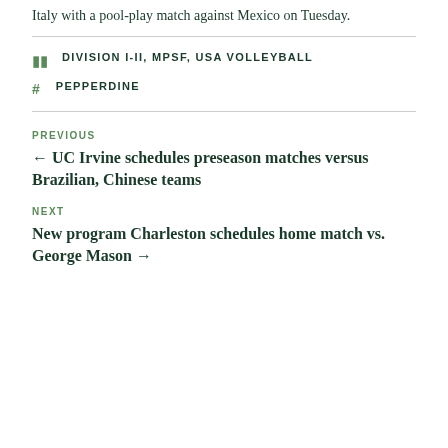Italy with a pool-play match against Mexico on Tuesday.
DIVISION I-II, MPSF, USA VOLLEYBALL
PEPPERDINE
PREVIOUS
← UC Irvine schedules preseason matches versus Brazilian, Chinese teams
NEXT
New program Charleston schedules home match vs. George Mason →